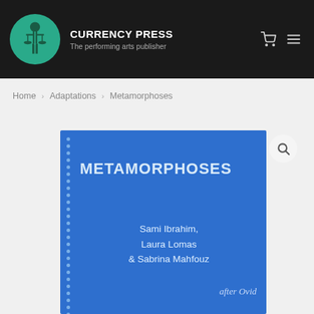CURRENCY PRESS — The performing arts publisher
Home > Adaptations > Metamorphoses
[Figure (illustration): Book cover for Metamorphoses by Sami Ibrahim, Laura Lomas & Sabrina Mahfouz, after Ovid. Blue cover with white/light text and dotted left border decoration. Published by Currency Press.]
METAMORPHOSES — Sami Ibrahim, Laura Lomas & Sabrina Mahfouz — after Ovid